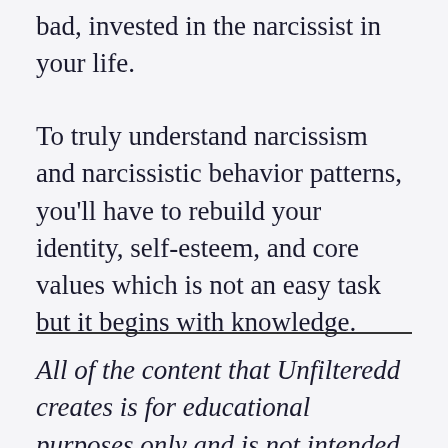bad, invested in the narcissist in your life.
To truly understand narcissism and narcissistic behavior patterns, you'll have to rebuild your identity, self-esteem, and core values which is not an easy task but it begins with knowledge.
All of the content that Unfilteredd creates is for educational purposes only and is not intended to be a substitute for